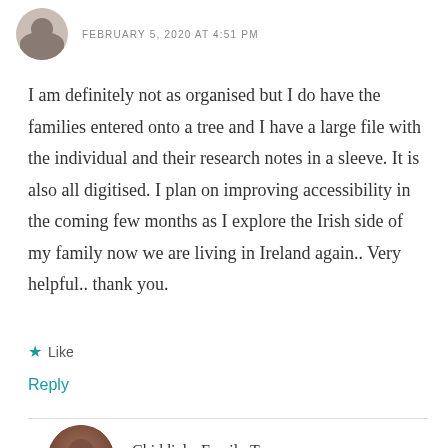FEBRUARY 5, 2020 AT 4:51 PM
I am definitely not as organised but I do have the families entered onto a tree and I have a large file with the individual and their research notes in a sleeve. It is also all digitised. I plan on improving accessibility in the coming few months as I explore the Irish side of my family now we are living in Ireland again.. Very helpful.. thank you.
Like
Reply
Chiddicks Family Tree
FEBRUARY 5, 2020 AT 7:02 PM